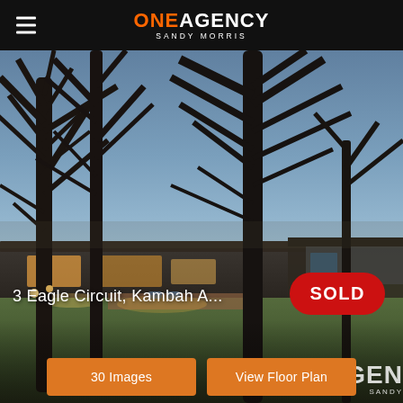ONE AGENCY SANDY MORRIS
[Figure (photo): Exterior photo of a single-storey house at dusk/twilight, with tall bare-branched trees in the foreground, warm interior lights glowing, green lawn, and a timber deck area visible. A red SOLD badge is overlaid in the bottom-right corner.]
3 Eagle Circuit, Kambah A...
SOLD
30 Images
View Floor Plan